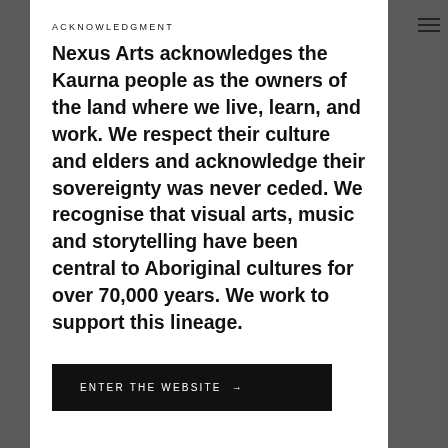ACKNOWLEDGMENT
Nexus Arts acknowledges the Kaurna people as the owners of the land where we live, learn, and work. We respect their culture and elders and acknowledge their sovereignty was never ceded. We recognise that visual arts, music and storytelling have been central to Aboriginal cultures for over 70,000 years. We work to support this lineage.
ENTER THE WEBSITE →